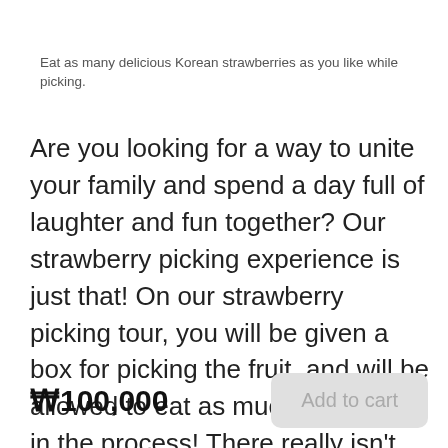Eat as many delicious Korean strawberries as you like while picking.
Are you looking for a way to unite your family and spend a day full of laughter and fun together? Our strawberry picking experience is just that! On our strawberry picking tour, you will be given a box for picking the fruit, and will be allowed to eat as much as you like in the process! There really isn't such a thing as “too many” strawberries when it comes to your diet, because they are full of Vitamin C and fiber that is extremely healthy for you! Being on a farm is also a great way to teach your children about the importance
₩100,000
Add to cart